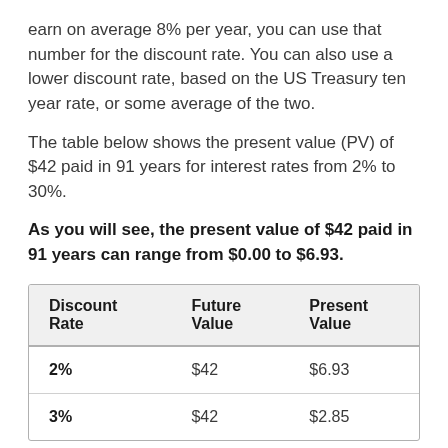earn on average 8% per year, you can use that number for the discount rate. You can also use a lower discount rate, based on the US Treasury ten year rate, or some average of the two.
The table below shows the present value (PV) of $42 paid in 91 years for interest rates from 2% to 30%.
As you will see, the present value of $42 paid in 91 years can range from $0.00 to $6.93.
| Discount Rate | Future Value | Present Value |
| --- | --- | --- |
| 2% | $42 | $6.93 |
| 3% | $42 | $2.85 |